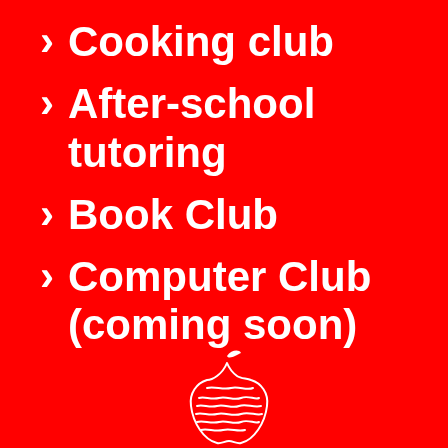Cooking club
After-school tutoring
Book Club
Computer Club (coming soon)
[Figure (logo): White illustrated apple logo with a leaf, scribble-style drawing on red background]